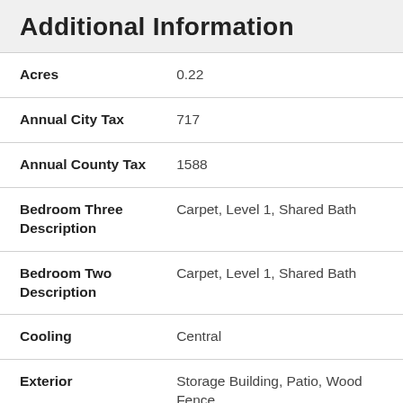Additional Information
| Field | Value |
| --- | --- |
| Acres | 0.22 |
| Annual City Tax | 717 |
| Annual County Tax | 1588 |
| Bedroom Three Description | Carpet, Level 1, Shared Bath |
| Bedroom Two Description | Carpet, Level 1, Shared Bath |
| Cooling | Central |
| Exterior | Storage Building, Patio, Wood Fence |
| Exterior Windows | Brick Homes, Storm Door(s) |